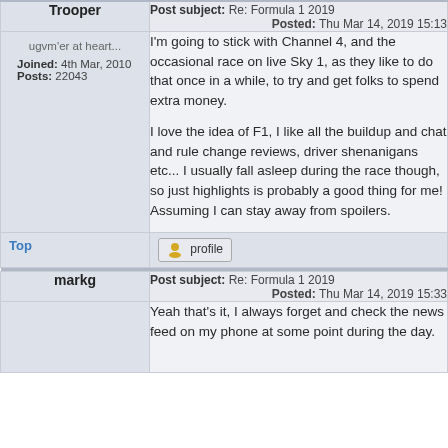Trooper
Post subject: Re: Formula 1 2019
Posted: Thu Mar 14, 2019 15:13
ugvm'er at heart...
Joined: 4th Mar, 2010
Posts: 22043
I'm going to stick with Channel 4, and the occasional race on live Sky 1, as they like to do that once in a while, to try and get folks to spend extra money.

I love the idea of F1, I like all the buildup and chat and rule change reviews, driver shenanigans etc... I usually fall asleep during the race though, so just highlights is probably a good thing for me! Assuming I can stay away from spoilers.
Top
profile
markg
Post subject: Re: Formula 1 2019
Posted: Thu Mar 14, 2019 15:33
Yeah that's it, I always forget and check the news feed on my phone at some point during the day.